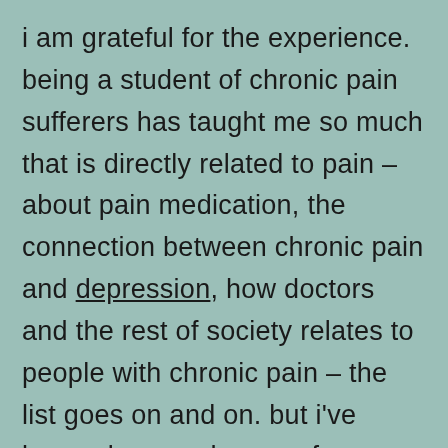i am grateful for the experience. being a student of chronic pain sufferers has taught me so much that is directly related to pain – about pain medication, the connection between chronic pain and depression, how doctors and the rest of society relates to people with chronic pain – the list goes on and on. but i've learned so much more. for example, about what it's like to have a disability – visible and invisible; what it means to live a “normal” life; and the superstitions we harbour towards people who are “different”.